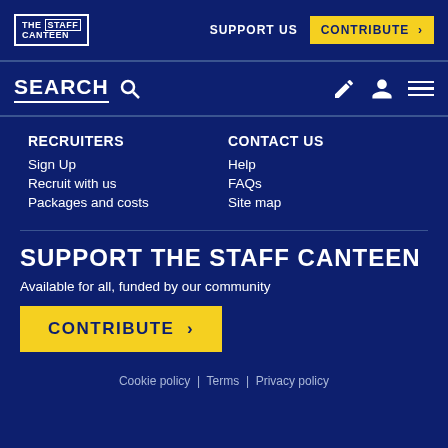[Figure (logo): The Staff Canteen logo - white text in bordered box]
SUPPORT US
CONTRIBUTE >
SEARCH
RECRUITERS
Sign Up
Recruit with us
Packages and costs
CONTACT US
Help
FAQs
Site map
SUPPORT THE STAFF CANTEEN
Available for all, funded by our community
CONTRIBUTE >
Cookie policy | Terms | Privacy policy